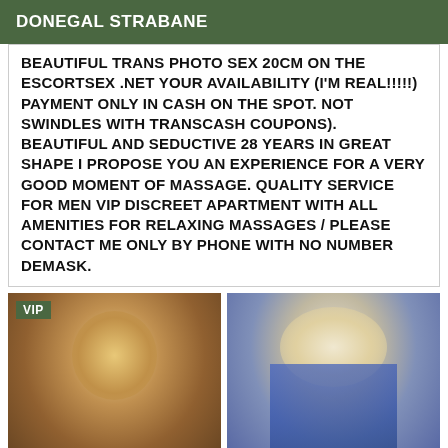DONEGAL STRABANE
BEAUTIFUL TRANS PHOTO SEX 20CM ON THE ESCORTSEX .NET YOUR AVAILABILITY (I'M REAL!!!!!) PAYMENT ONLY IN CASH ON THE SPOT. NOT SWINDLES WITH TRANSCASH COUPONS). BEAUTIFUL AND SEDUCTIVE 28 YEARS IN GREAT SHAPE I PROPOSE YOU AN EXPERIENCE FOR A VERY GOOD MOMENT OF MASSAGE. QUALITY SERVICE FOR MEN VIP DISCREET APARTMENT WITH ALL AMENITIES FOR RELAXING MASSAGES / PLEASE CONTACT ME ONLY BY PHONE WITH NO NUMBER DEMASK.
[Figure (photo): Left: sepia-toned close-up photo of a blonde person, with VIP badge overlay]
[Figure (photo): Right: photo of a blonde person in blue outfit on a couch]